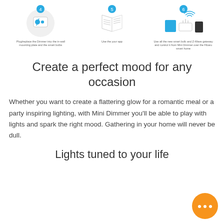[Figure (illustration): Three step instructional icons at top: step 4 showing a dimmer switch device in a circle, step 5 showing a booklet/manual, step 6 showing WiFi/router/device icons with wireless signals]
Plug/replace the Dimmer into the in-wall mounting plate and the smart bulbs
Use the your app
Use all the new smart bulb and Z-Wave gateway and control it from Mini Dimmer over the Fibaro smart home
Create a perfect mood for any occasion
Whether you want to create a flattering glow for a romantic meal or a party inspiring lighting, with Mini Dimmer you'll be able to play with lights and spark the right mood. Gathering in your home will never be dull.
Lights tuned to your life
[Figure (illustration): Orange circular chat/messaging button with three dots in the bottom right corner]